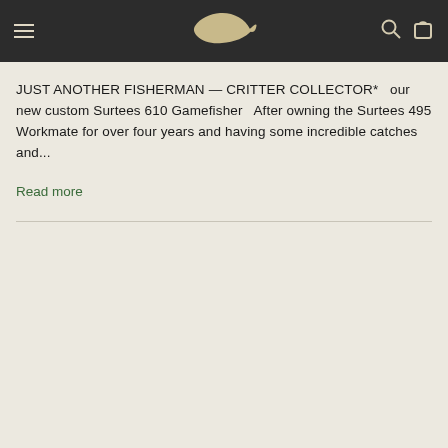[Navigation bar with hamburger menu, fish logo, search icon, and bag icon]
JUST ANOTHER FISHERMAN — CRITTER COLLECTOR*   our new custom Surtees 610 Gamefisher   After owning the Surtees 495 Workmate for over four years and having some incredible catches and...
Read more